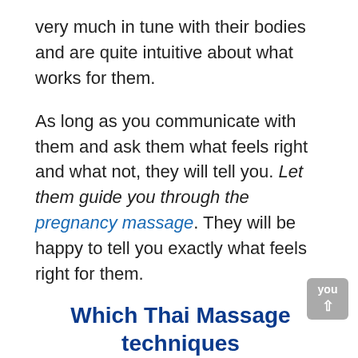very much in tune with their bodies and are quite intuitive about what works for them.
As long as you communicate with them and ask them what feels right and what not, they will tell you. Let them guide you through the pregnancy massage. They will be happy to tell you exactly what feels right for them.
Which Thai Massage techniques work for pregnancy massage?
If a woman is just a few months pregnant, you can generally do many Thai Massage techniques and...